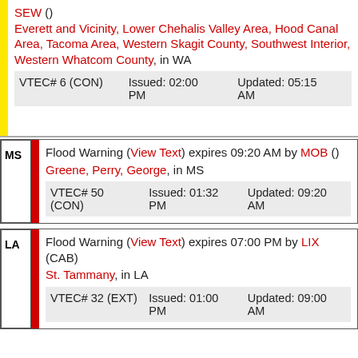SEW () Everett and Vicinity, Lower Chehalis Valley Area, Hood Canal Area, Tacoma Area, Western Skagit County, Southwest Interior, Western Whatcom County, in WA
VTEC# 6 (CON) Issued: 02:00 PM Updated: 05:15 AM
Flood Warning (View Text) expires 09:20 AM by MOB () Greene, Perry, George, in MS
VTEC# 50 (CON) Issued: 01:32 PM Updated: 09:20 AM
Flood Warning (View Text) expires 07:00 PM by LIX (CAB) St. Tammany, in LA
VTEC# 32 (EXT) Issued: 01:00 PM Updated: 09:00 AM